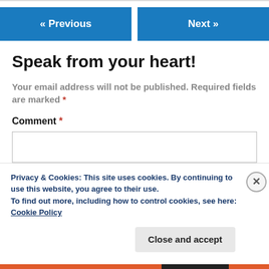[Figure (screenshot): Navigation buttons: « Previous (blue) and Next » (blue)]
Speak from your heart!
Your email address will not be published. Required fields are marked *
Comment *
[Figure (screenshot): Comment text input box (empty)]
Privacy & Cookies: This site uses cookies. By continuing to use this website, you agree to their use. To find out more, including how to control cookies, see here: Cookie Policy
Close and accept